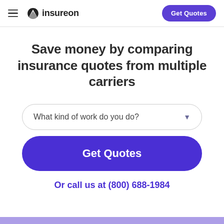insureon — Get Quotes
Save money by comparing insurance quotes from multiple carriers
What kind of work do you do?
Get Quotes
Or call us at (800) 688-1984